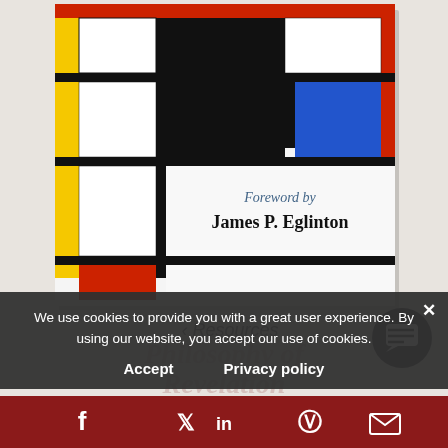[Figure (illustration): Book cover with Mondrian-style geometric grid of black, white, yellow, blue, and red rectangles. Text on cover reads 'Foreword by James P. Eglinton']
< Resources
[Figure (other): Dark circular chat/message button icon with speech bubble]
We use cookies to provide you with a great user experience. By using our website, you accept our use of cookies.
Accept    Privacy policy
[Figure (other): Social sharing bar with Facebook, Twitter, LinkedIn, Pinterest, and email icons on dark red background]